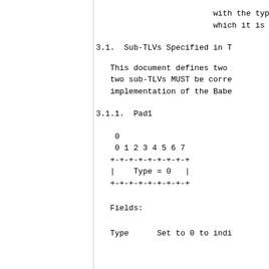with the type which it is embe
3.1.  Sub-TLVs Specified in T
This document defines two two sub-TLVs MUST be corre implementation of the Babe
3.1.1.  Pad1
0
 0 1 2 3 4 5 6 7
+-+-+-+-+-+-+-+
|    Type = 0   |
+-+-+-+-+-+-+-+
Fields:
Type      Set to 0 to indi